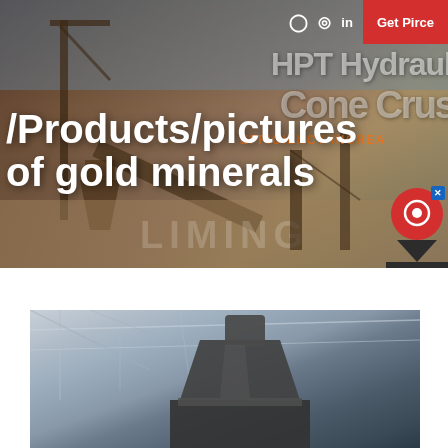Get Pirce
[Figure (photo): Industrial mining/crushing plant equipment with conveyor belts and machinery against a sky backdrop, with watermark text LIMING]
/Products/pictures of gold minerals
HPT Hydrauli
Cone Crus
EFFICIENCY INCREA
[Figure (photo): Close-up of industrial cone crusher equipment inside a factory/warehouse building with steel roof structure visible]